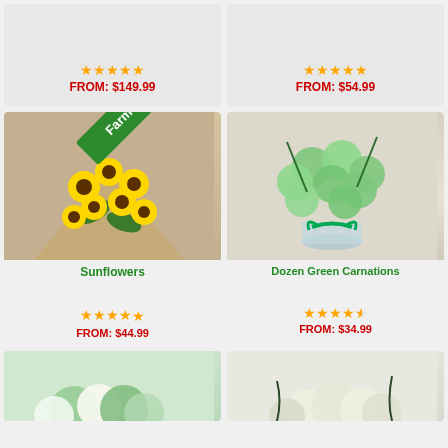[Figure (photo): Flower product top-left, partially visible at top of page]
FROM: $149.99
[Figure (photo): Flower product top-right, partially visible at top of page]
FROM: $54.99
[Figure (photo): Sunflowers wrapped in brown kraft paper with Farm Fresh banner]
Sunflowers
FROM: $44.99
[Figure (photo): Dozen Green Carnations in glass vase with green ribbon]
Dozen Green Carnations
FROM: $34.99
[Figure (photo): Green and white flower bouquet, bottom-left partial]
[Figure (photo): White flower arrangement, bottom-right partial]